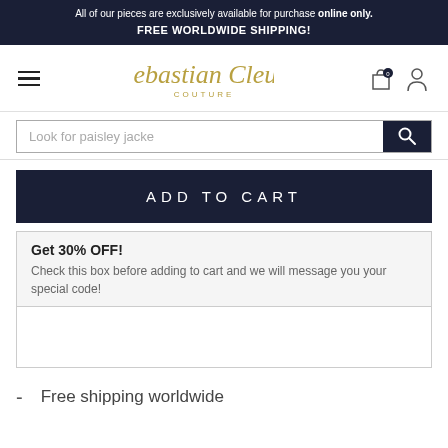All of our pieces are exclusively available for purchase online only.
FREE WORLDWIDE SHIPPING!
[Figure (logo): Sebastian Cleus Couture brand logo in gold italic script with 'COUTURE' subtitle]
Look for paisley jacke
ADD TO CART
Get 30% OFF!
Check this box before adding to cart and we will message you your special code!
Free shipping worldwide